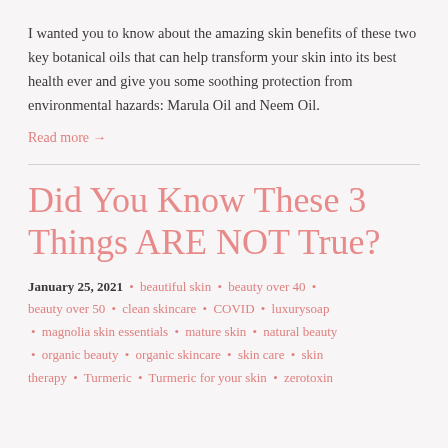I wanted you to know about the amazing skin benefits of these two key botanical oils that can help transform your skin into its best health ever and give you some soothing protection from environmental hazards: Marula Oil and Neem Oil.
Read more →
Did You Know These 3 Things ARE NOT True?
January 25, 2021 • beautiful skin • beauty over 40 • beauty over 50 • clean skincare • COVID • luxurysoap • magnolia skin essentials • mature skin • natural beauty • organic beauty • organic skincare • skin care • skin therapy • Turmeric • Turmeric for your skin • zerotoxin